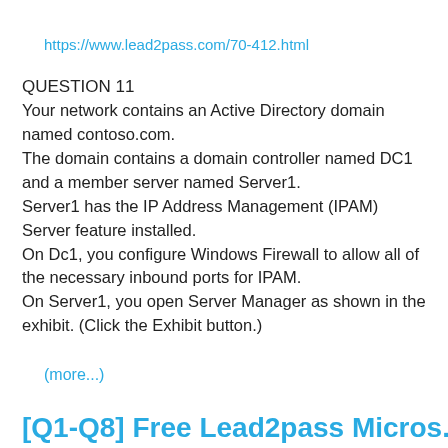https://www.lead2pass.com/70-412.html
QUESTION 11
Your network contains an Active Directory domain named contoso.com.
The domain contains a domain controller named DC1 and a member server named Server1.
Server1 has the IP Address Management (IPAM) Server feature installed.
On Dc1, you configure Windows Firewall to allow all of the necessary inbound ports for IPAM.
On Server1, you open Server Manager as shown in the exhibit. (Click the Exhibit button.)
(more...)
[Q1-Q8] Free Lead2pass Microsoft...